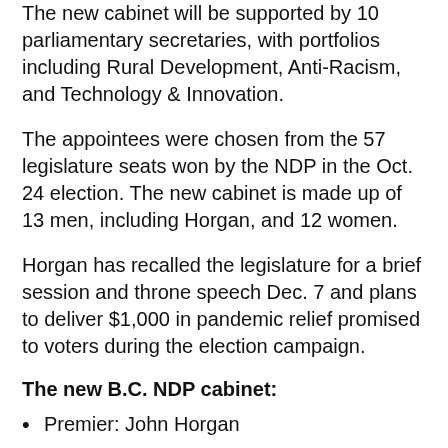The new cabinet will be supported by 10 parliamentary secretaries, with portfolios including Rural Development, Anti-Racism, and Technology & Innovation.
The appointees were chosen from the 57 legislature seats won by the NDP in the Oct. 24 election. The new cabinet is made up of 13 men, including Horgan, and 12 women.
Horgan has recalled the legislature for a brief session and throne speech Dec. 7 and plans to deliver $1,000 in pandemic relief promised to voters during the election campaign.
The new B.C. NDP cabinet:
Premier: John Horgan
Attorney General (and Minister Responsible For Housing): David Eby
Advanced Education and Skills Training: Anne Kang